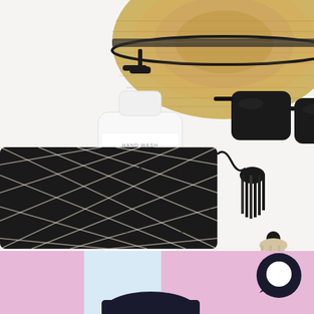[Figure (photo): Flat lay lifestyle photo showing a white pump bottle labeled 'GOOD VIBES ONLY' (hand wash), a straw sun hat, black sunglasses, and a black and cream woven clutch bag with black and cream tassels, arranged on a white surface.]
[Figure (photo): Partial view of a second image at the bottom of the page showing pink and white striped fabric or clothing, with a dark navy circular chat bubble icon overlaid in the bottom-right area.]